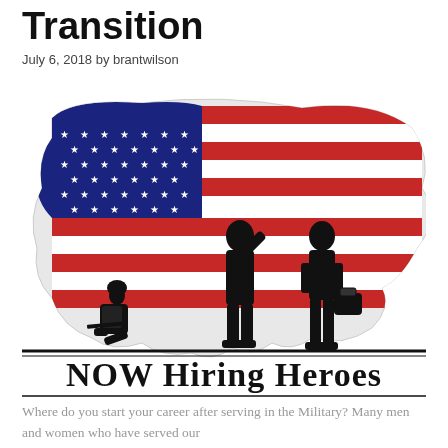Transition
July 6, 2018 by brantwilson
[Figure (illustration): NOW Hiring Heroes graphic: silhouettes of three military/civilian figures (soldier in combat gear, soldier saluting, businessman with briefcase) against a USA map outline with American flag (stars and stripes in red, white, blue). Bold text at bottom reads 'NOW Hiring Heroes' with double horizontal rules above and below.]
Where do you start your career after serving in the Military? Many men and women who have served our